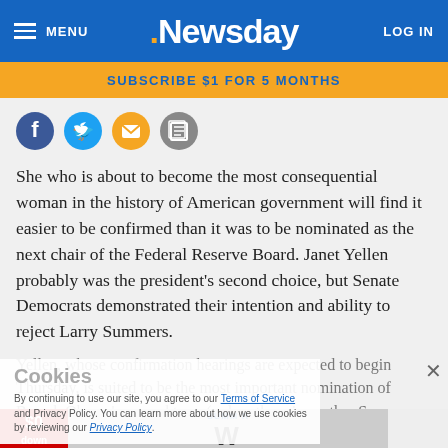MENU | Newsday | LOG IN
SUBSCRIBE $1 FOR 5 MONTHS
[Figure (other): Social sharing icons: Facebook, Twitter, Email, Print]
She who is about to become the most consequential woman in the history of American government will find it easier to be confirmed than it was to be nominated as the next chair of the Federal Reserve Board. Janet Yellen probably was the president's second choice, but Senate Democrats demonstrated their intention and ability to reject Larry Summers.
Yellen, whose confirmation hearings are expected to begin Thursday, is suited to be the most important nomination of Barack Obama's second term (unless there is another Supreme Court and she represents the power
Cookies
By continuing to use our site, you agree to our Terms of Service and Privacy Policy. You can learn more about how we use cookies by reviewing our Privacy Policy.